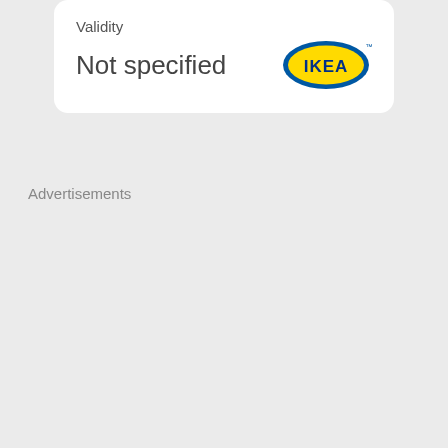Validity
Not specified
[Figure (logo): IKEA logo — blue oval outline with yellow fill and dark blue bold text 'IKEA' inside, with a small trademark symbol]
Advertisements